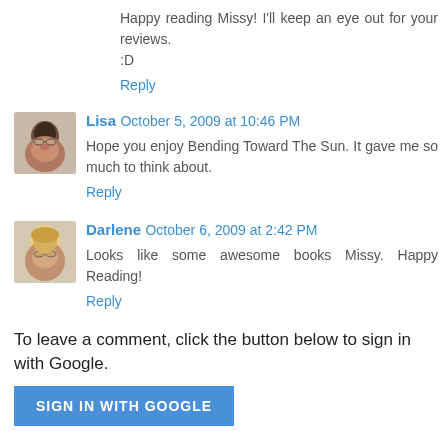Happy reading Missy! I'll keep an eye out for your reviews. :D
Reply
Lisa  October 5, 2009 at 10:46 PM
Hope you enjoy Bending Toward The Sun. It gave me so much to think about.
Reply
Darlene  October 6, 2009 at 2:42 PM
Looks like some awesome books Missy. Happy Reading!
Reply
To leave a comment, click the button below to sign in with Google.
SIGN IN WITH GOOGLE